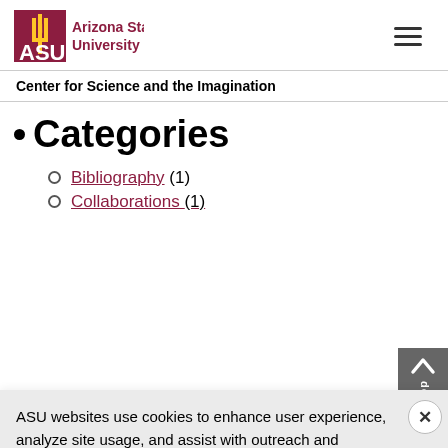[Figure (logo): Arizona State University logo with ASU text in maroon and gold sunburst icon, followed by 'Arizona State University' text in maroon]
Center for Science and the Imagination
Categories
Bibliography (1)
Collaborations (1)
ASU websites use cookies to enhance user experience, analyze site usage, and assist with outreach and enrollment. By continuing to use this site, you are giving us your consent to do this. Learn more about cookies on ASU websites in our Privacy Statement.
Ideas (242)
Imaginary College (43)